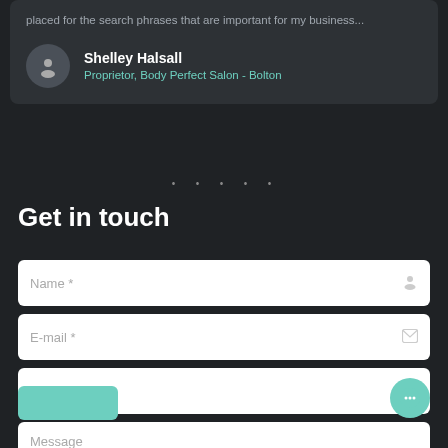placed for the search phrases that are important for my business...
Shelley Halsall
Proprietor, Body Perfect Salon - Bolton
Get in touch
Name *
E-mail *
Telephone
Message